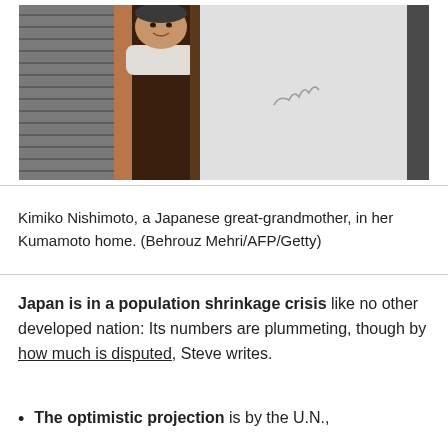[Figure (photo): An elderly Japanese woman (Kimiko Nishimoto) peeking around the edge of a door in her home, smiling. The left side shows grey louvred shutters, a wooden door frame, and her face and body visible in the gap. The right portion of the image is mostly light/white wall.]
Kimiko Nishimoto, a Japanese great-grandmother, in her Kumamoto home. (Behrouz Mehri/AFP/Getty)
Japan is in a population shrinkage crisis like no other developed nation: Its numbers are plummeting, though by how much is disputed, Steve writes.
The optimistic projection is by the U.N.,